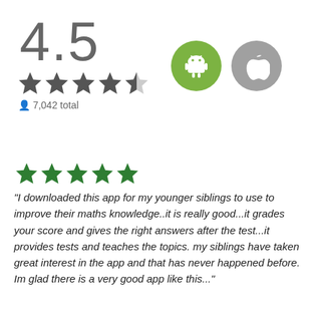[Figure (infographic): App rating display showing 4.5 stars, 7,042 total reviews, Android and iOS platform icons]
[Figure (infographic): Five green stars rating]
"I downloaded this app for my younger siblings to use to improve their maths knowledge..it is really good...it grades your score and gives the right answers after the test...it provides tests and teaches the topics. my siblings have taken great interest in the app and that has never happened before. Im glad there is a very good app like this..."